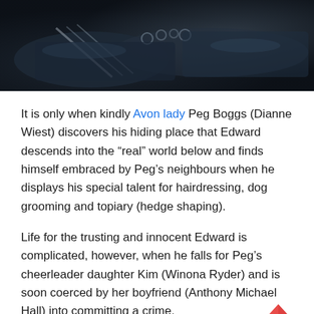[Figure (photo): Dark cinematic film still showing a figure with metallic/scissor-like appendages lying down, dark leather and chains visible, moody lighting]
It is only when kindly Avon lady Peg Boggs (Dianne Wiest) discovers his hiding place that Edward descends into the “real” world below and finds himself embraced by Peg’s neighbours when he displays his special talent for hairdressing, dog grooming and topiary (hedge shaping).
Life for the trusting and innocent Edward is complicated, however, when he falls for Peg’s cheerleader daughter Kim (Winona Ryder) and is soon coerced by her boyfriend (Anthony Michael Hall) into committing a crime.
One of the many successes Burton pulls off in this